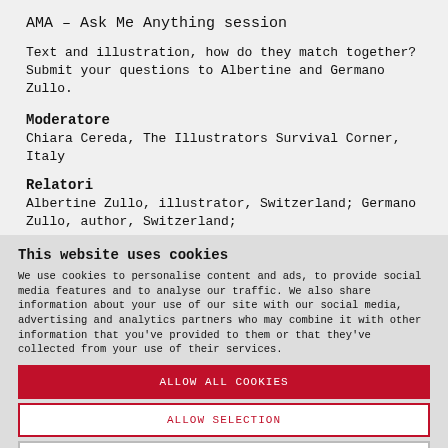AMA – Ask Me Anything session
Text and illustration, how do they match together? Submit your questions to Albertine and Germano Zullo.
Moderatore
Chiara Cereda, The Illustrators Survival Corner, Italy
Relatori
Albertine Zullo, illustrator, Switzerland; Germano Zullo, author, Switzerland;
This website uses cookies
We use cookies to personalise content and ads, to provide social media features and to analyse our traffic. We also share information about your use of our site with our social media, advertising and analytics partners who may combine it with other information that you've provided to them or that they've collected from your use of their services.
ALLOW ALL COOKIES
ALLOW SELECTION
USE NECESSARY COOKIES ONLY